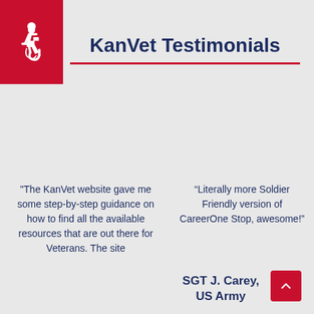[Figure (logo): Red square with white wheelchair accessibility icon]
KanVet Testimonials
"The KanVet website gave me some step-by-step guidance on how to find all the available resources that are out there for Veterans. The site
“Literally more Soldier Friendly version of CareerOne Stop, awesome!”
SGT J. Carey, US Army